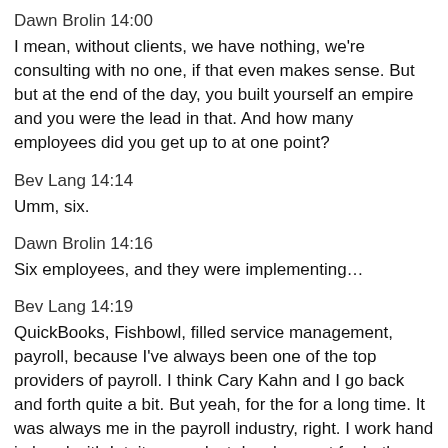Dawn Brolin 14:00
I mean, without clients, we have nothing, we're consulting with no one, if that even makes sense. But but at the end of the day, you built yourself an empire and you were the lead in that. And how many employees did you get up to at one point?
Bev Lang 14:14
Umm, six.
Dawn Brolin 14:16
Six employees, and they were implementing…
Bev Lang 14:19
QuickBooks, Fishbowl, filled service management, payroll, because I've always been one of the top providers of payroll. I think Cary Kahn and I go back and forth quite a bit. But yeah, for the for a long time. It was always me in the payroll industry, right. I work hand in hand with Intuit on product development for both enterprise cubio payroll. We just had a Payroll